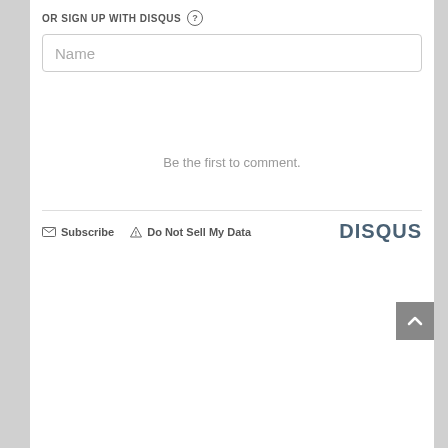OR SIGN UP WITH DISQUS ?
Name
Be the first to comment.
Subscribe    Do Not Sell My Data    DISQUS